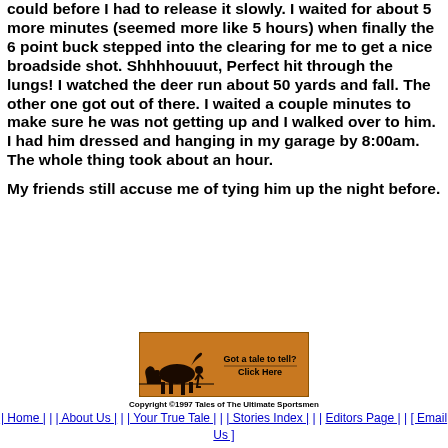could before I had to release it slowly. I waited for about 5 more minutes (seemed more like 5 hours) when finally the 6 point buck stepped into the clearing for me to get a nice broadside shot. Shhhhouuut, Perfect hit through the lungs! I watched the deer run about 50 yards and fall. The other one got out of there. I waited a couple minutes to make sure he was not getting up and I walked over to him. I had him dressed and hanging in my garage by 8:00am. The whole thing took about an hour.
My friends still accuse me of tying him up the night before.
[Figure (illustration): Orange banner advertisement with silhouette of horse and person, text reads 'Got a tale to tell? Click Here']
Copyright ©1997 Tales of The Ultimate Sportsmen | Home | | About Us | | Your True Tale | | Stories Index | | Editors Page | [ Email Us ]